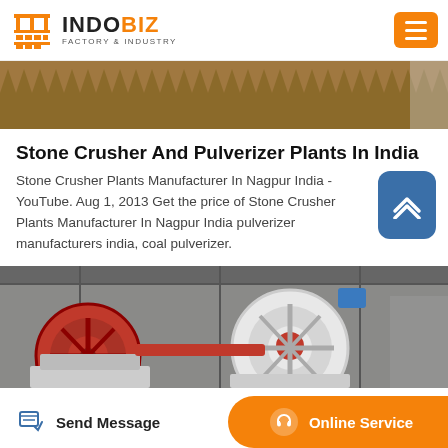INDOBIZ FACTORY & INDUSTRY
[Figure (photo): Industrial zigzag fence/barrier structure with sandy/tan color, viewed from below]
Stone Crusher And Pulverizer Plants In India
Stone Crusher Plants Manufacturer In Nagpur India - YouTube. Aug 1, 2013 Get the price of Stone Crusher Plants Manufacturer In Nagpur India pulverizer manufacturers india, coal pulverizer.
[Figure (photo): Industrial stone crusher machines in a factory, showing large red and white flywheels/wheels with industrial equipment inside a warehouse]
Send Message | Online Service